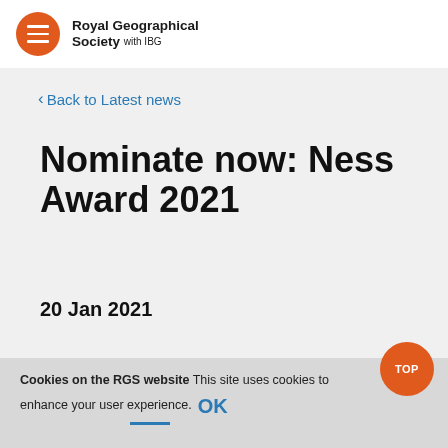Royal Geographical Society with IBG
< Back to Latest news
Nominate now: Ness Award 2021
20 Jan 2021
RGS-IBG NEWS, MEDALS AND AWARDS
Cookies on the RGS website This site uses cookies to enhance your user experience. OK